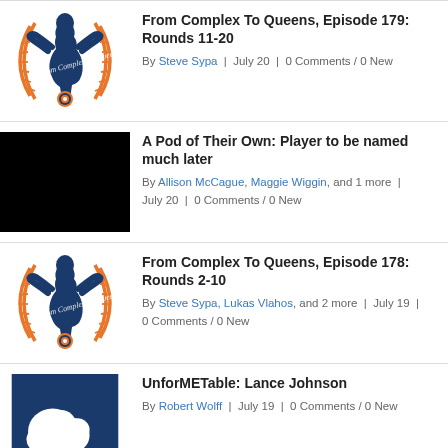From Complex To Queens, Episode 179: Rounds 11-20 | By Steve Sypa | July 20 | 0 Comments / 0 New
A Pod of Their Own: Player to be named much later | By Allison McCague, Maggie Wiggin, and 1 more | July 20 | 0 Comments / 0 New
From Complex To Queens, Episode 178: Rounds 2-10 | By Steve Sypa, Lukas Vlahos, and 2 more | July 19 | 0 Comments / 0 New
UnforMETable: Lance Johnson | By Robert Wolff | July 19 | 0 Comments / 0 New